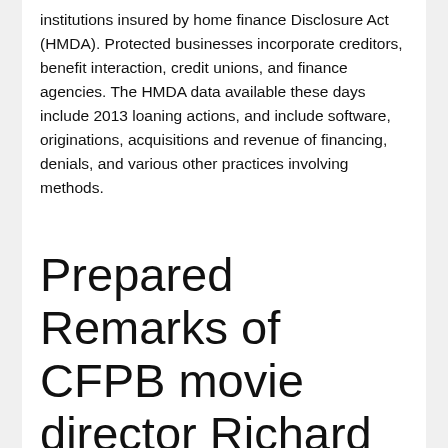institutions insured by home finance Disclosure Act (HMDA). Protected businesses incorporate creditors, benefit interaction, credit unions, and finance agencies. The HMDA data available these days include 2013 loaning actions, and include software, originations, acquisitions and revenue of financing, denials, and various other practices involving methods.
Prepared Remarks of CFPB movie director Richard Cordray at automotive money